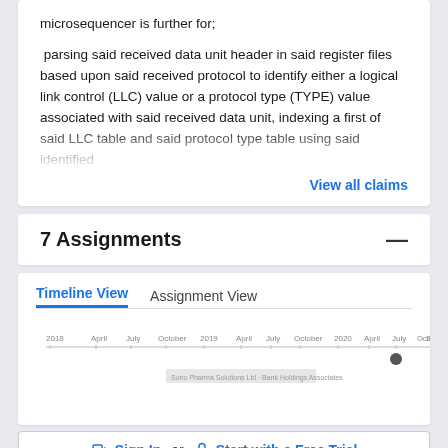microsequencer is further for; parsing said received data unit header in said register files based upon said received protocol to identify either a logical link control (LLC) value or a protocol type (TYPE) value associated with said received data unit, indexing a first of said LLC table and said protocol type table using said identified
View all claims
7 Assignments
Timeline View | Assignment View
[Figure (other): Timeline chart showing assignments from 2018 to 2021 with a marker point at July 2020]
Sign In or Start with a Free Trial